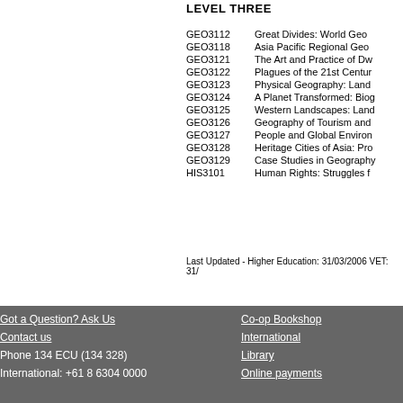LEVEL THREE
GEO3112   Great Divides: World Geo
GEO3118   Asia Pacific Regional Geo
GEO3121   The Art and Practice of Dw
GEO3122   Plagues of the 21st Centur
GEO3123   Physical Geography: Land
GEO3124   A Planet Transformed: Biog
GEO3125   Western Landscapes: Land
GEO3126   Geography of Tourism and
GEO3127   People and Global Environ
GEO3128   Heritage Cities of Asia: Pro
GEO3129   Case Studies in Geography
HIS3101   Human Rights: Struggles f
Last Updated - Higher Education: 31/03/2006 VET: 31/
Got a Question? Ask Us | Contact us | Phone 134 ECU (134 328) | International: +61 8 6304 0000 | Co-op Bookshop | International | Library | Online payments